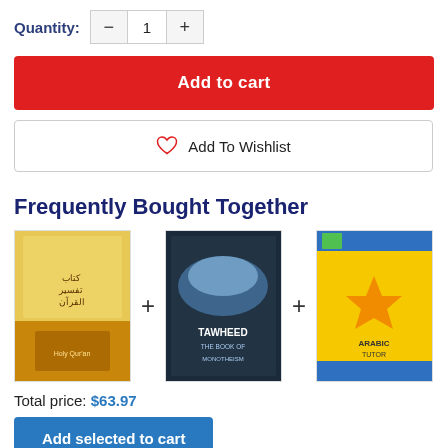Quantity: — 1 +
Add to cart
Add To Wishlist
Frequently Bought Together
[Figure (other): Three book covers shown as frequently bought together with plus signs between them]
Total price: $63.97
Add selected to cart
This item: The Holy Qur'an Interpretation Series -